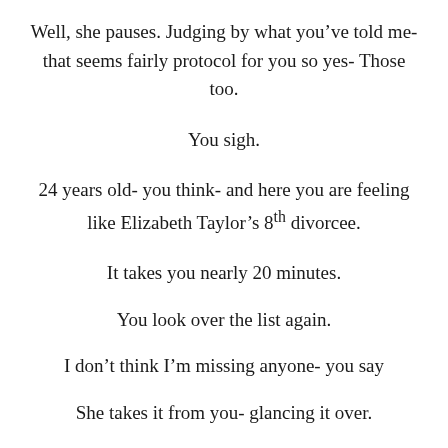Well, she pauses. Judging by what you’ve told me- that seems fairly protocol for you so yes- Those too.
You sigh.
24 years old- you think- and here you are feeling like Elizabeth Taylor’s 8th divorcee.
It takes you nearly 20 minutes.
You look over the list again.
I don’t think I’m missing anyone- you say
She takes it from you- glancing it over.